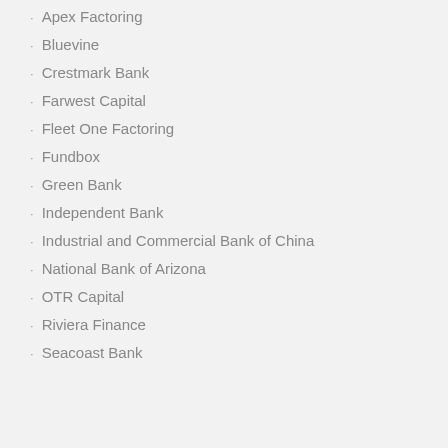Apex Factoring
Bluevine
Crestmark Bank
Farwest Capital
Fleet One Factoring
Fundbox
Green Bank
Independent Bank
Industrial and Commercial Bank of China
National Bank of Arizona
OTR Capital
Riviera Finance
Seacoast Bank